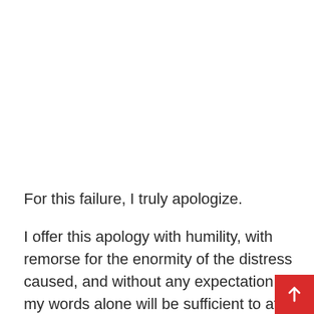For this failure, I truly apologize.
I offer this apology with humility, with remorse for the enormity of the distress caused, and without any expectation that my words alone will be sufficient to atone for harm done.